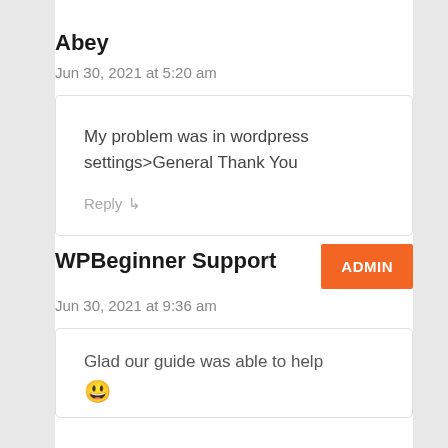Abey
Jun 30, 2021 at 5:20 am
My problem was in wordpress settings>General Thank You
Reply ↳
WPBeginner Support
ADMIN
Jun 30, 2021 at 9:36 am
Glad our guide was able to help 😀